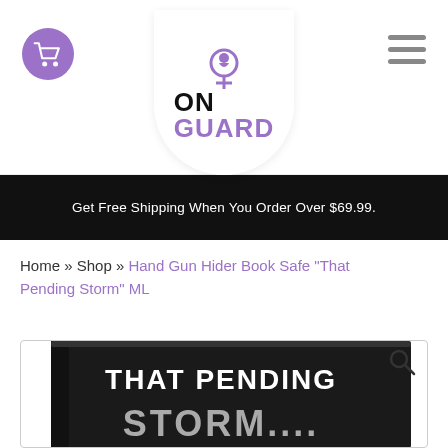[Figure (logo): On Guard logo with female symbol icon, cart icon on left, hamburger menu on right]
Get Free Shipping When You Order Over $69.99.
Home » Shop » Hand Gun Hider Book Safe “That Pending Storm” ML
[Figure (photo): Hand Gun Hider Book Safe product photo showing a black book titled THAT PENDING STORM....]